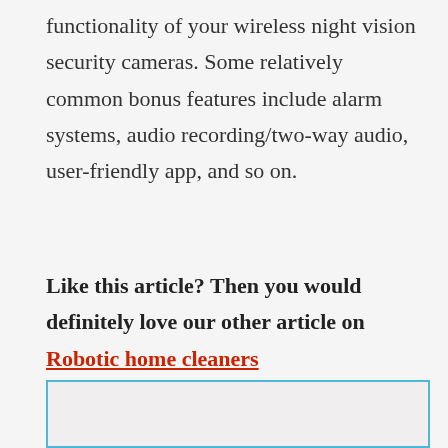functionality of your wireless night vision security cameras. Some relatively common bonus features include alarm systems, audio recording/two-way audio, user-friendly app, and so on.
Like this article? Then you would definitely love our other article on Robotic home cleaners
[Figure (other): A light-colored box with a blue border at the bottom of the page, likely an advertisement or embedded content placeholder.]